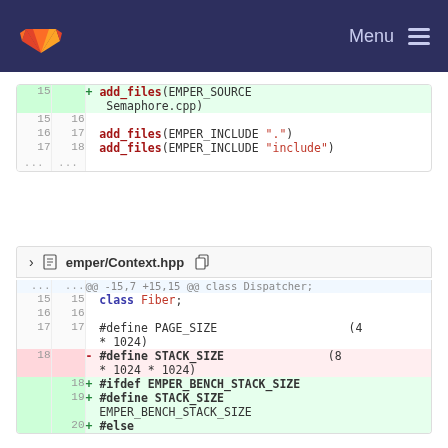GitLab — Menu
| old | new | code |
| --- | --- | --- |
| 15 |  | + add_files(EMPER_SOURCE Semaphore.cpp) |
| 15 | 16 |  |
| 16 | 17 | add_files(EMPER_INCLUDE ".") |
| 17 | 18 | add_files(EMPER_INCLUDE "include") |
| ... | ... |  |
emper/Context.hpp
| old | new | code |
| --- | --- | --- |
| ... | ... | @@ -15,7 +15,15 @@ class Dispatcher; |
| 15 | 15 | class Fiber; |
| 16 | 16 |  |
| 17 | 17 | #define PAGE_SIZE                          (4 * 1024) |
| 18 |  | - #define STACK_SIZE                         (8 * 1024 * 1024) |
|  | 18 | + #ifdef EMPER_BENCH_STACK_SIZE |
|  | 19 | + #define STACK_SIZE EMPER_BENCH_STACK_SIZE |
|  | 20 | + #else |